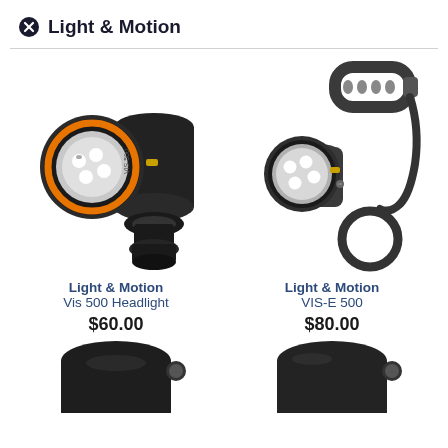Light & Motion
[Figure (photo): Black bicycle headlight (Vis 500 Headlight) with orange ring around LED and handlebar mount clamp]
Light & Motion
Vis 500 Headlight
$60.00
[Figure (photo): Black bicycle headlight (VIS-E 500) with white LED lens and rubber/cable helmet mount strap]
Light & Motion
VIS-E 500
$80.00
[Figure (photo): Partial view of black cylindrical bicycle light from below, cropped at bottom of page]
[Figure (photo): Partial view of second black bicycle light, cropped at bottom right of page]